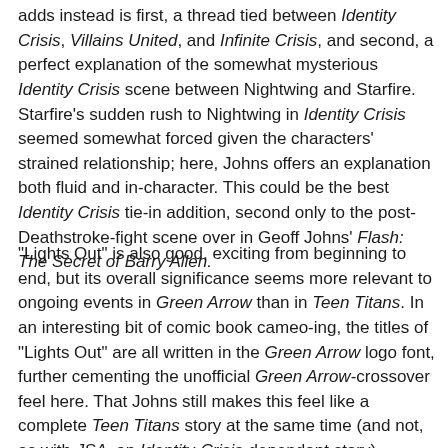adds instead is first, a thread tied between Identity Crisis, Villains United, and Infinite Crisis, and second, a perfect explanation of the somewhat mysterious Identity Crisis scene between Nightwing and Starfire. Starfire's sudden rush to Nightwing in Identity Crisis seemed somewhat forced given the characters' strained relationship; here, Johns offers an explanation both fluid and in-character. This could be the best Identity Crisis tie-in addition, second only to the post-Deathstroke-fight scene over in Geoff Johns' Flash: The Secret of Barry Allen.
"Lights Out" is also good, exciting from beginning to end, but its overall significance seems more relevant to ongoing events in Green Arrow than in Teen Titans. In an interesting bit of comic book cameo-ing, the titles of "Lights Out" are all written in the Green Arrow logo font, further cementing the unofficial Green Arrow-crossover feel here. That Johns still makes this feel like a complete Teen Titans story at the same time (and not, as with JSA, an Identity-Crisis-dependant story) remains a credit to his Teen Titans writing. If there was one only thing I disagreed with, though, it was seeing the two small-time crooks who shot Bolt in Identity Crisis behaving